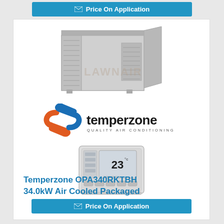Price On Application
[Figure (photo): Large commercial air-cooled packaged HVAC unit (Temperzone OPA340RKTBH), light grey box-shaped unit with grilles and vents, watermarked with 'LAWNAIR' text in background]
[Figure (logo): Temperzone logo: orange and blue swoosh arrows on left, bold black 'temperzone' text, with 'QUALITY AIR CONDITIONING' subtitle in smaller caps]
[Figure (photo): White wall-mounted thermostat/controller with digital display showing '23' degrees]
Temperzone OPA340RKTBH 34.0kW Air Cooled Packaged
Price On Application